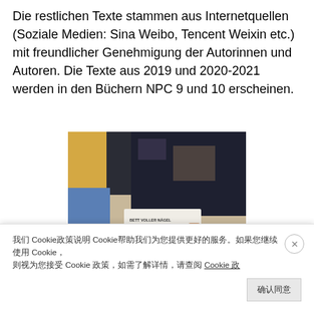Die restlichen Texte stammen aus Internetquellen (Soziale Medien: Sina Weibo, Tencent Weixin etc.) mit freundlicher Genehmigung der Autorinnen und Autoren. Die Texte aus 2019 und 2020-2021 werden in den Büchern NPC 9 und 10 erscheinen.
[Figure (photo): A person holding a book with a white cover showing birds and text, photographed indoors with blurred background.]
我们 Cookie政策说明 Cookie帮助我们为您提供更好的服务。如果您继续使用 Cookie， 则视为您接受 Cookie 政策，如需了解详情，请查阅 Cookie 政策